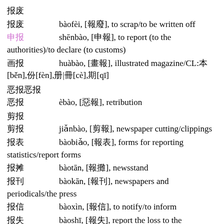报废 bàofèi, [報廢], to scrap/to be written off
申报 shēnbào, [申報], to report (to the authorities)/to declare (to customs)
画报 huàbào, [畫報], illustrated magazine/CL:本[běn],份[fèn],册|冊[cè],期[qī]
恶报恶报
恶报 èbào, [惡報], retribution
剪报
剪报 jiǎnbào, [剪報], newspaper cutting/clippings
报表 bàobiǎo, [報表], forms for reporting statistics/report forms
报摊 bàotān, [報攤], newsstand
报刊 bàokān, [報刊], newspapers and periodicals/the press
报信 bàoxìn, [報信], to notify/to inform
报失 bàoshī, [報失], report the loss to the